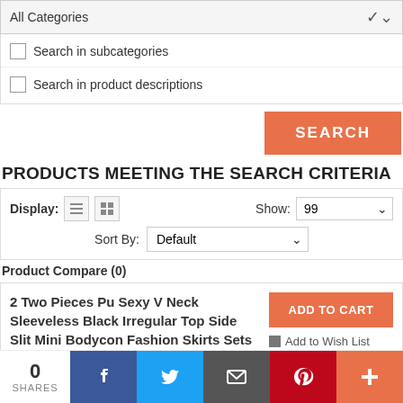All Categories
Search in subcategories
Search in product descriptions
SEARCH
PRODUCTS MEETING THE SEARCH CRITERIA
Display: Show: 99 Sort By: Default
Product Compare (0)
2 Two Pieces Pu Sexy V Neck Sleeveless Black Irregular Top Side Slit Mini Bodycon Fashion Skirts Sets Gloves
ADD TO CART
Add to Wish List
Add to Compare
2 Two  $39.99